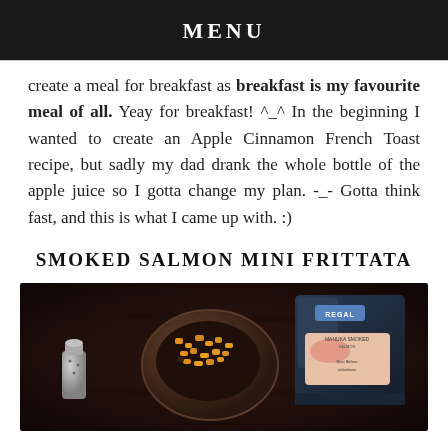MENU
create a meal for breakfast as breakfast is my favourite meal of all. Yeay for breakfast! ^_^ In the beginning I wanted to create an Apple Cinnamon French Toast recipe, but sadly my dad drank the whole bottle of the apple juice so I gotta change my plan. -_- Gotta think fast, and this is what I came up with. :)
SMOKED SALMON MINI FRITTATA
[Figure (photo): Ingredients for smoked salmon mini frittata: a glass bowl with diced orange/yellow vegetables, a package of Regal Manuka smoked salmon, and a small salt shaker, all on a dark wooden surface.]